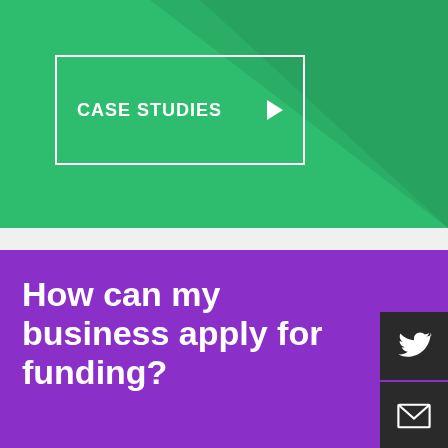[Figure (illustration): Green banner section with a 'CASE STUDIES' button outlined in white, with a play arrow icon, on a green background with a diagonal lighter green shadow overlay.]
How can my business apply for funding?
[Figure (illustration): Social media sidebar icons: Twitter bird icon and envelope/email icon, both in white on dark background.]